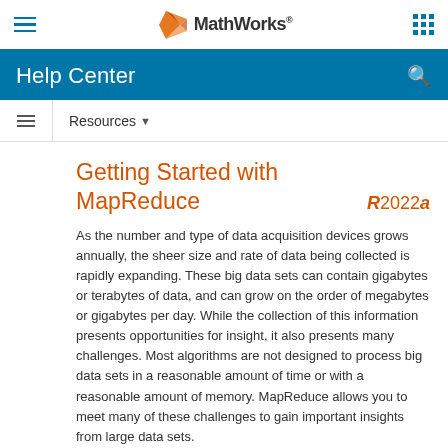MathWorks
Help Center
Resources
Getting Started with MapReduce
R2022a
As the number and type of data acquisition devices grows annually, the sheer size and rate of data being collected is rapidly expanding. These big data sets can contain gigabytes or terabytes of data, and can grow on the order of megabytes or gigabytes per day. While the collection of this information presents opportunities for insight, it also presents many challenges. Most algorithms are not designed to process big data sets in a reasonable amount of time or with a reasonable amount of memory. MapReduce allows you to meet many of these challenges to gain important insights from large data sets.
What Is MapReduce?
MapReduce Algorithm Flow